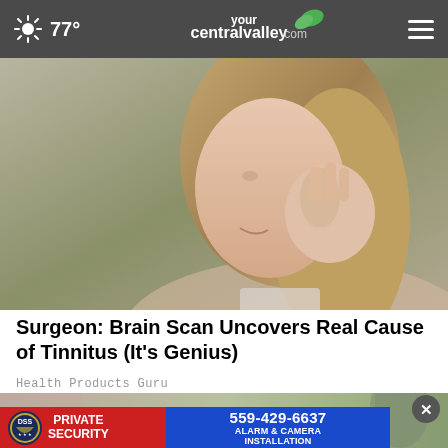77° yourcentralvalley.com
[Figure (photo): Woman in profile view grimacing and holding her hand to her ear, suggesting ear pain or tinnitus. She has long blonde hair and wears a light tank top. Background is grey/green.]
Surgeon: Brain Scan Uncovers Real Cause of Tinnitus (It's Genius)
Health Products Guru
[Figure (photo): Advertisement for DSS Private Security showing a person in uniform on the right, with red section showing DSS badge logo and 'PRIVATE SECURITY' text, and blue section showing phone number 559-429-6637 and 'ALARM & CAMERA INSTALLATION'. A close button (X) appears in the upper right corner.]